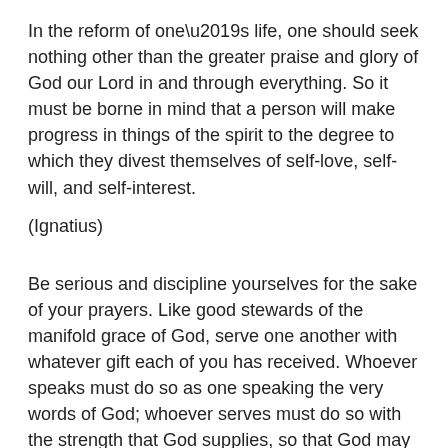In the reform of one’s life, one should seek nothing other than the greater praise and glory of God our Lord in and through everything. So it must be borne in mind that a person will make progress in things of the spirit to the degree to which they divest themselves of self-love, self-will, and self-interest.
(Ignatius)
Be serious and discipline yourselves for the sake of your prayers. Like good stewards of the manifold grace of God, serve one another with whatever gift each of you has received. Whoever speaks must do so as one speaking the very words of God; whoever serves must do so with the strength that God supplies, so that God may be glorified in all things through Jesus Christ.
(1 Pt 4:7, 10–11)